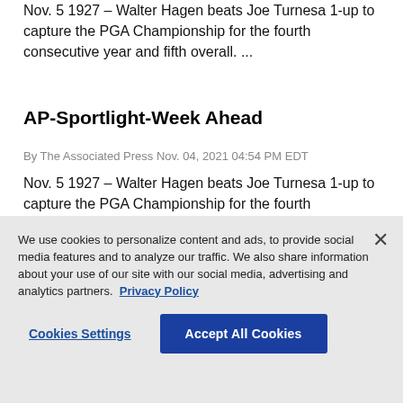Nov. 5 1927 – Walter Hagen beats Joe Turnesa 1-up to capture the PGA Championship for the fourth consecutive year and fifth overall. ...
AP-Sportlight-Week Ahead
By The Associated Press Nov. 04, 2021 04:54 PM EDT
Nov. 5 1927 – Walter Hagen beats Joe Turnesa 1-up to capture the PGA Championship for the fourth consecutive year and fifth overall. ...
We use cookies to personalize content and ads, to provide social media features and to analyze our traffic. We also share information about your use of our site with our social media, advertising and analytics partners. Privacy Policy Cookies Settings Accept All Cookies